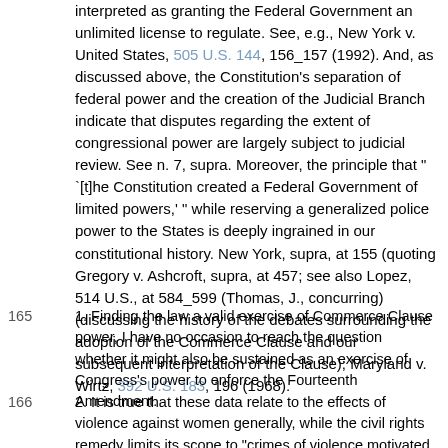interpreted as granting the Federal Government an unlimited license to regulate. See, e.g., New York v. United States, 505 U.S. 144, 156_157 (1992). And, as discussed above, the Constitution's separation of federal power and the creation of the Judicial Branch indicate that disputes regarding the extent of congressional power are largely subject to judicial review. See n. 7, supra. Moreover, the principle that " `[t]he Constitution created a Federal Government of limited powers,' " while reserving a generalized police power to the States is deeply ingrained in our constitutional history. New York, supra, at 155 (quoting Gregory v. Ashcroft, supra, at 457; see also Lopez, 514 U.S., at 584_599 (Thomas, J., concurring) (discussing the history of the debates surrounding the adoption of the Commerce Clause and our subsequent interpretation of the Clause); Maryland v. Wirtz, 392 U.S. 183, 196 (1968).
1. Finding the law a valid exercise of Commerce Clause power, I have no occasion to reach the question whether it might also be sustained as an exercise of Congress's power to enforce the Fourteenth Amendment.
2. It is true that these data relate to the effects of violence against women generally, while the civil rights remedy limits its scope to "crimes of violence motivated by gender"-presumably a somewhat